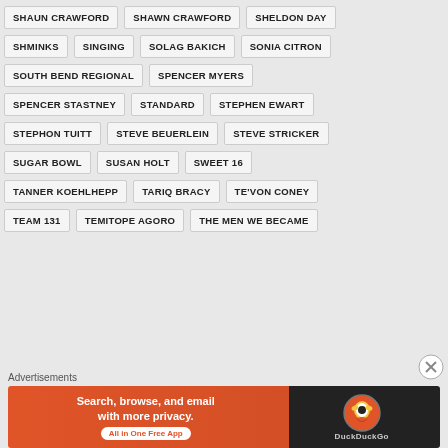SHAUN CRAWFORD
SHAWN CRAWFORD
SHELDON DAY
SHMINKS
SINGING
SOLAG BAKICH
SONIA CITRON
SOUTH BEND REGIONAL
SPENCER MYERS
SPENCER STASTNEY
STANDARD
STEPHEN EWART
STEPHON TUITT
STEVE BEUERLEIN
STEVE STRICKER
SUGAR BOWL
SUSAN HOLT
SWEET 16
TANNER KOEHLHEPP
TARIQ BRACY
TE'VON CONEY
TEAM 131
TEMITOPE AGORO
THE MEN WE BECAME
Advertisements
[Figure (other): DuckDuckGo advertisement banner: Search, browse, and email with more privacy. All in One Free App]